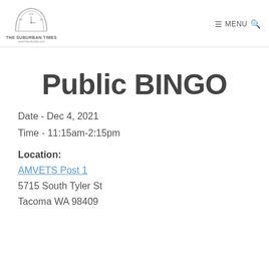THE SUBURBAN TIMES  MENU
Public BINGO
Date - Dec 4, 2021
Time - 11:15am-2:15pm
Location:
AMVETS Post 1
5715 South Tyler St
Tacoma WA 98409